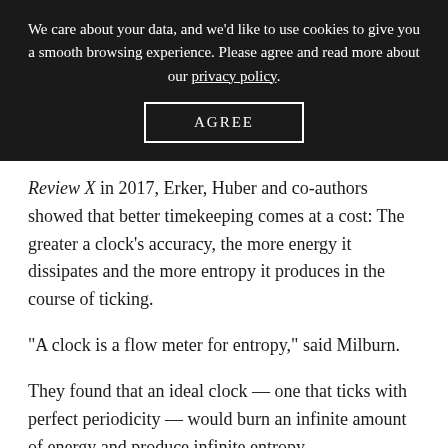We care about your data, and we'd like to use cookies to give you a smooth browsing experience. Please agree and read more about our privacy policy.
AGREE
Review X in 2017, Erker, Huber and co-authors showed that better timekeeping comes at a cost: The greater a clock's accuracy, the more energy it dissipates and the more entropy it produces in the course of ticking.
“A clock is a flow meter for entropy,” said Milburn.
They found that an ideal clock — one that ticks with perfect periodicity — would burn an infinite amount of energy and produce infinite entropy,